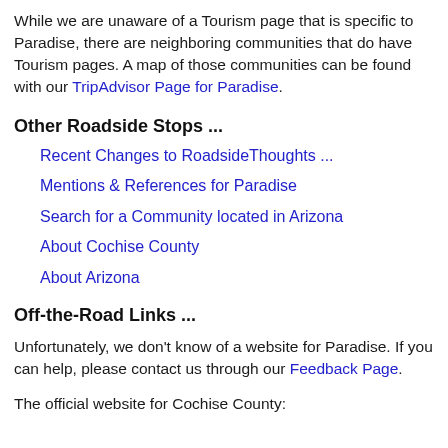While we are unaware of a Tourism page that is specific to Paradise, there are neighboring communities that do have Tourism pages. A map of those communities can be found with our TripAdvisor Page for Paradise.
Other Roadside Stops ...
Recent Changes to RoadsideThoughts ...
Mentions & References for Paradise
Search for a Community located in Arizona
About Cochise County
About Arizona
Off-the-Road Links ...
Unfortunately, we don't know of a website for Paradise. If you can help, please contact us through our Feedback Page.
The official website for Cochise County: